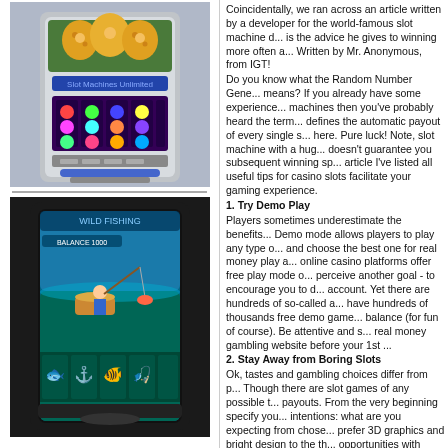[Figure (photo): A colorful upright slot machine with tiger graphics at the top, showing 'Slot Machines Unlimited' branding on the screen and various slot reels displayed.]
[Figure (photo): A black tablet-style gaming device showing a fishing-themed slot game with colorful underwater/fishing graphics and a player character.]
Coincidentally, we ran across an article written by a developer for the world-famous slot machine developer. Here is the advice he gives to winning more often at slots. Written by Mr. Anonymous, from IGT! Do you know what the Random Number Generator means? If you already have some experience with slot machines then you've probably heard the term. The RNG defines the automatic payout of every single spin from here. Pure luck! Note, slot machine with a huge jackpot doesn't guarantee you subsequent winning spins. In this article I've listed all useful tips for casino slots that will facilitate your gaming experience. 1. Try Demo Play Players sometimes underestimate the benefits of demo. Demo mode allows players to play any type of slot game and choose the best one for real money play at. Most online casino platforms offer free play mode or as others perceive another goal - to encourage you to deposit on account. Yet there are hundreds of so-called aggregators, have hundreds of thousands free demo games with play balance (for fun of course). Be attentive and study any real money gambling website before your 1st deposit. 2. Stay Away from Boring Slots Ok, tastes and gambling choices differ from person. Though there are slot games of any possible theme and payouts. From the very beginning specify your gaming intentions: what are you expecting from chosen slots? prefer 3D graphics and bright design to the the best opportunities with simple game layout and rules. 3. More Pay lines = More Winnings Online casino slot machines have all possible pay lines from one up to 1024 ways to win. It's not a secret more lines the slot game has, the more chances of winning. Furthermore, some slot games come with great extra winnings in case of all/some pay lines got activated. Play games with more pay lines and try to bet on all of them min bet on all pay lines will work out. 4. Choose From the Slot Machines